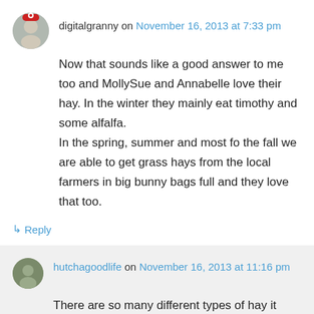digitalgranny on November 16, 2013 at 7:33 pm
Now that sounds like a good answer to me too and MollySue and Annabelle love their hay. In the winter they mainly eat timothy and some alfalfa. In the spring, summer and most fo the fall we are able to get grass hays from the local farmers in big bunny bags full and they love that too.
↳ Reply
hutchagoodlife on November 16, 2013 at 11:16 pm
There are so many different types of hay it